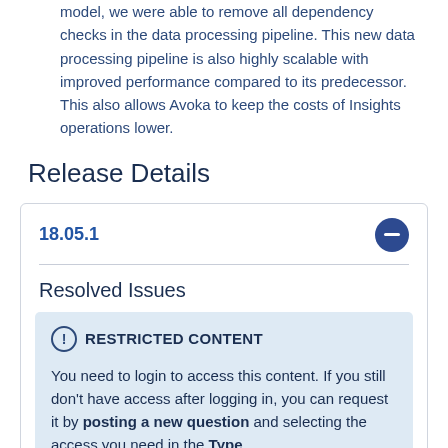model, we were able to remove all dependency checks in the data processing pipeline. This new data processing pipeline is also highly scalable with improved performance compared to its predecessor. This also allows Avoka to keep the costs of Insights operations lower.
Release Details
18.05.1
Resolved Issues
RESTRICTED CONTENT
You need to login to access this content. If you still don't have access after logging in, you can request it by posting a new question and selecting the access you need in the Type